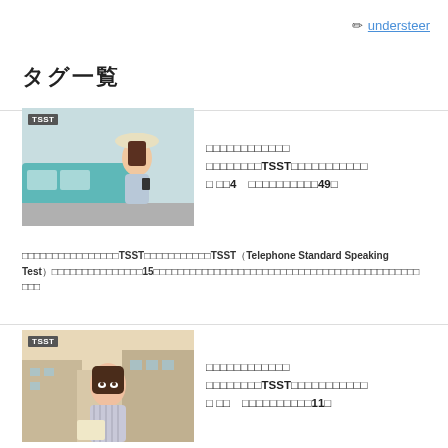✏ understeer
タグ一覧
[Figure (photo): Young woman wearing a hat, sitting near a teal van, using a smartphone. TSST badge overlay in top-left.]
TSST関連記事の一覧です　スピーキングテストTSSTに関する記事を一覧しています。 第4　回目のTSST受験記49回
英語のスピーキングテストの点数を上げるためにTSSTを受験してきた。TSSTはTelephone Standard Speaking Testの頭文字で、電話での会話評価が15分ほどあります。英語のスピーキング能力を向上させるための勉強法をまとめています。
[Figure (photo): Young woman looking upward outdoors with buildings in background. TSST badge overlay in top-left.]
TSST関連記事の一覧です　スピーキングテストTSSTに関する記事を一覧しています。 第　回目のTSST受験記11回